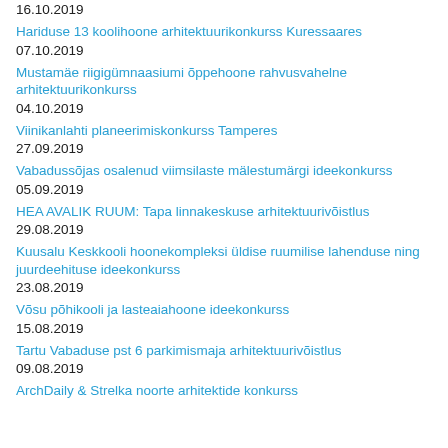16.10.2019
Hariduse 13 koolihoone arhitektuurikonkurss Kuressaares
07.10.2019
Mustamäe riigigümnaasiumi õppehoone rahvusvahelne arhitektuurikonkurss
04.10.2019
Viinikanlahti planeerimiskonkurss Tamperes
27.09.2019
Vabadussõjas osalenud viimsilaste mälestumärgi ideekonkurss
05.09.2019
HEA AVALIK RUUM: Tapa linnakeskuse arhitektuurivõistlus
29.08.2019
Kuusalu Keskkooli hoonekompleksi üldise ruumilise lahenduse ning juurdeehituse ideekonkurss
23.08.2019
Võsu põhikooli ja lasteaiahoone ideekonkurss
15.08.2019
Tartu Vabaduse pst 6 parkimismaja arhitektuurivõistlus
09.08.2019
ArchDaily & Strelka noorte arhitektide konkurss